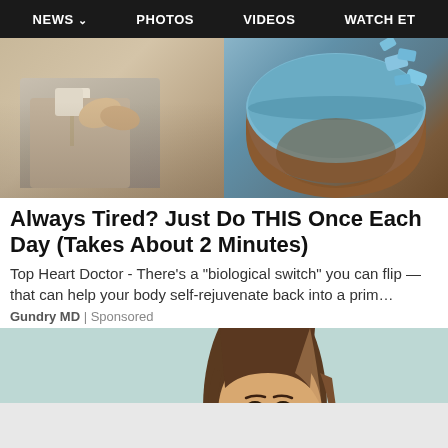NEWS  PHOTOS  VIDEOS  WATCH ET
[Figure (photo): Top image showing two halves: left side shows a person in a beige/gray suit, right side shows a circular pill or supplement container with blue pieces around it]
Always Tired? Just Do THIS Once Each Day (Takes About 2 Minutes)
Top Heart Doctor - There’s a “biological switch” you can flip — that can help your body self-rejuvenate back into a prim…
Gundry MD | Sponsored
[Figure (photo): Photo of a smiling young woman with long brown hair against a light teal/mint background, cropped from shoulders up]